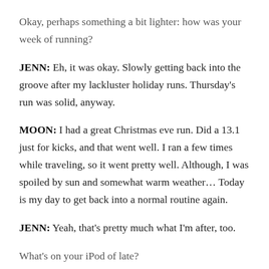Okay, perhaps something a bit lighter: how was your week of running?
JENN: Eh, it was okay. Slowly getting back into the groove after my lackluster holiday runs. Thursday’s run was solid, anyway.
MOON: I had a great Christmas eve run. Did a 13.1 just for kicks, and that went well. I ran a few times while traveling, so it went pretty well. Although, I was spoiled by sun and somewhat warm weather… Today is my day to get back into a normal routine again.
JENN: Yeah, that’s pretty much what I’m after, too.
What’s on your iPod of late?